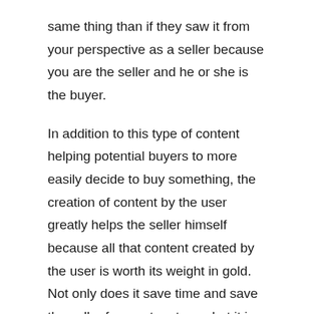same thing than if they saw it from your perspective as a seller because you are the seller and he or she is the buyer.
In addition to this type of content helping potential buyers to more easily decide to buy something, the creation of content by the user greatly helps the seller himself because all that content created by the user is worth its weight in gold. Not only does it save time and save the seller from extra stress, but it is also content that sellers will use on their part, and users have come up with absolutely everything.